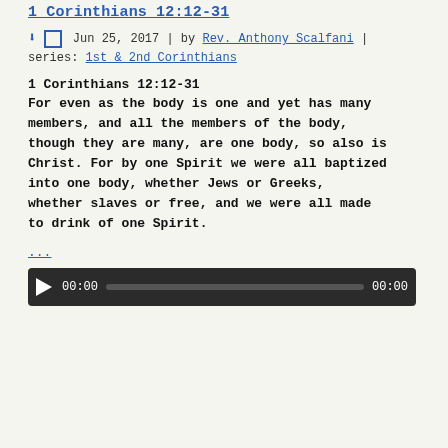1 Corinthians 12:12-31
Jun 25, 2017 | by Rev. Anthony Scalfani | series: 1st & 2nd Corinthians
1 Corinthians 12:12-31
For even as the body is one and yet has many members, and all the members of the body, though they are many, are one body, so also is Christ. For by one Spirit we were all baptized into one body, whether Jews or Greeks, whether slaves or free, and we were all made to drink of one Spirit.
...
[Figure (other): Audio player with play button, time display 00:00, progress bar, and end time 00:00]